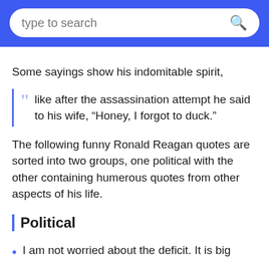type to search
Some sayings show his indomitable spirit,
like after the assassination attempt he said to his wife, “Honey, I forgot to duck.”
The following funny Ronald Reagan quotes are sorted into two groups, one political with the other containing humerous quotes from other aspects of his life.
Political
I am not worried about the deficit. It is big